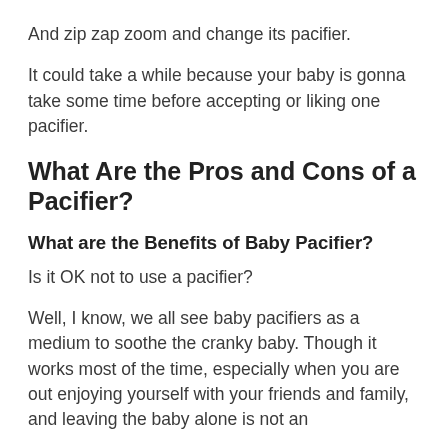And zip zap zoom and change its pacifier.
It could take a while because your baby is gonna take some time before accepting or liking one pacifier.
What Are the Pros and Cons of a Pacifier?
What are the Benefits of Baby Pacifier?
Is it OK not to use a pacifier?
Well, I know, we all see baby pacifiers as a medium to soothe the cranky baby. Though it works most of the time, especially when you are out enjoying yourself with your friends and family, and leaving the baby alone is not an